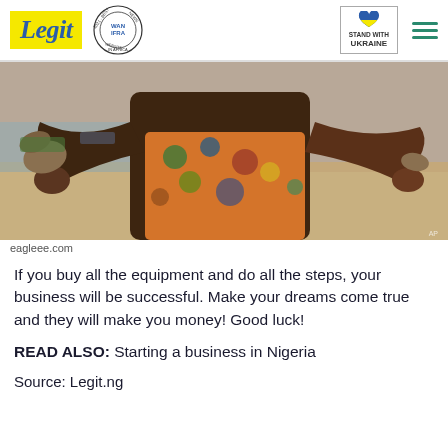Legit | WAN IFRA 2021 Best News Website in Africa | Stand with Ukraine
[Figure (photo): A person in a colorful patterned outfit holding up two fish or pieces of seafood near a sandy waterfront area.]
eagleee.com
If you buy all the equipment and do all the steps, your business will be successful. Make your dreams come true and they will make you money! Good luck!
READ ALSO: Starting a business in Nigeria
Source: Legit.ng